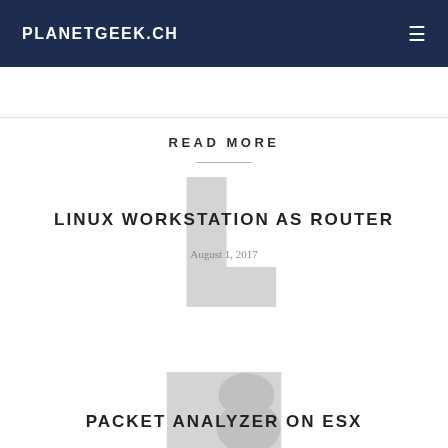PLANETGEEK.CH
READ MORE
LINUX WORKSTATION AS ROUTER
August 1, 2017
PACKET ANALYZER ON ESX